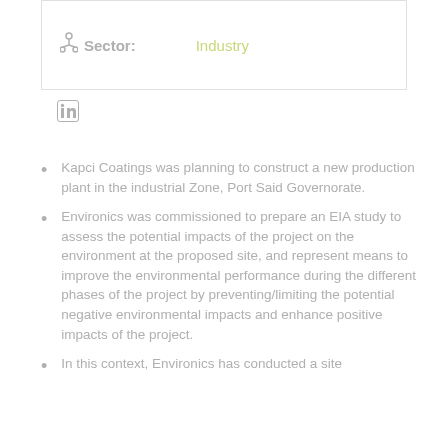Sector: Industry
[Figure (logo): LinkedIn icon]
Kapci Coatings was planning to construct a new production plant in the industrial Zone, Port Said Governorate.
Environics was commissioned to prepare an EIA study to assess the potential impacts of the project on the environment at the proposed site, and represent means to improve the environmental performance during the different phases of the project by preventing/limiting the potential negative environmental impacts and enhance positive impacts of the project.
In this context, Environics has conducted a site